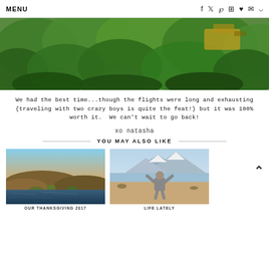MENU
[Figure (photo): Aerial/wide shot of lush green vegetation and a yellow construction vehicle or machinery partially visible among dense greenery]
We had the best time...though the flights were long and exhausting {traveling with two crazy boys is quite the feat!} but it was 100% worth it.  We can't wait to go back!
xo natasha
YOU MAY ALSO LIKE
[Figure (photo): Desert landscape with hills and a still body of water reflecting the sky at dusk or dawn]
OUR THANKSGIVING 2017
[Figure (photo): Young boy in a hoodie standing on sandy/desert ground near a lake with mountains in the background, arms raised happily]
LIFE LATELY